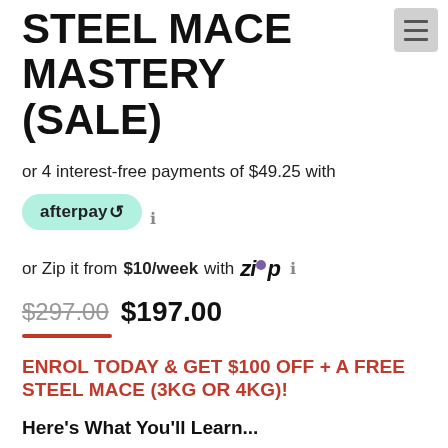STEEL MACE MASTERY (SALE)
or 4 interest-free payments of $49.25 with afterpay ℹ
or Zip it from $10/week with Zip ℹ
$297.00  $197.00
ENROL TODAY & GET $100 OFF + A FREE STEEL MACE (3KG OR 4KG)!
Here's What You'll Learn...
You will master the fundamentals of mace